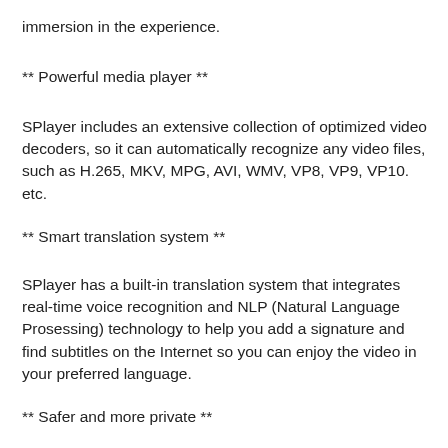immersion in the experience.
** Powerful media player **
SPlayer includes an extensive collection of optimized video decoders, so it can automatically recognize any video files, such as H.265, MKV, MPG, AVI, WMV, VP8, VP9, VP10. etc.
** Smart translation system **
SPlayer has a built-in translation system that integrates real-time voice recognition and NLP (Natural Language Prosessing) technology to help you add a signature and find subtitles on the Internet so you can enjoy the video in your preferred language.
** Safer and more private **
SPlayer is open source software, which means that the code is publicly available, open to public auditing